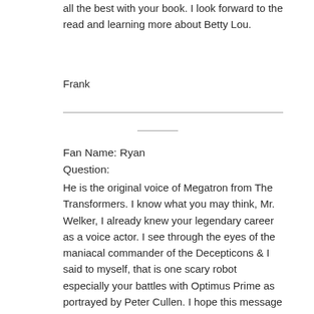all the best with your book. I look forward to the read and learning more about Betty Lou.
Frank
Fan Name: Ryan
Question:
He is the original voice of Megatron from The Transformers. I know what you may think, Mr. Welker, I already knew your legendary career as a voice actor. I see through the eyes of the maniacal commander of the Decepticons & I said to myself, that is one scary robot especially your battles with Optimus Prime as portrayed by Peter Cullen. I hope this message will serve you well